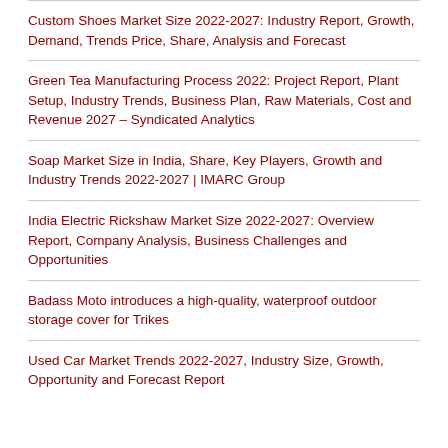Custom Shoes Market Size 2022-2027: Industry Report, Growth, Demand, Trends Price, Share, Analysis and Forecast
Green Tea Manufacturing Process 2022: Project Report, Plant Setup, Industry Trends, Business Plan, Raw Materials, Cost and Revenue 2027 – Syndicated Analytics
Soap Market Size in India, Share, Key Players, Growth and Industry Trends 2022-2027 | IMARC Group
India Electric Rickshaw Market Size 2022-2027: Overview Report, Company Analysis, Business Challenges and Opportunities
Badass Moto introduces a high-quality, waterproof outdoor storage cover for Trikes
Used Car Market Trends 2022-2027, Industry Size, Growth, Opportunity and Forecast Report